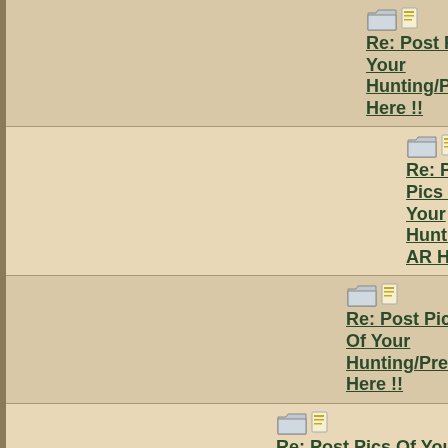Re: Post Pics Of Your Hunting/Predator/Varmit AR Here !!
Re: Post Pics Of Your Hunting/Predator/Varmit AR Here !!
Re: Post Pics Of Your Hunting/Predator/Varmit AR Here !!
Re: Post Pics Of Your Hunting/Predator/Varmit AR Here !!
Re: Post Pics Of Your Hunting/Predator/Varmit AR Here !!
Re: Post Pics Of Your Hunting/Predator/Varmit AR Here !!
Re: Post Pics Of Your Hunting/Predator/Varmit AR Here !!
Re: Post Pics Of Your Hunting/Predator/Varmit AR Here !!
Re: Post Pics Of Your Hunting/Predator/Varmit AR Here !!
Re: Post Pics Of Your Hunting/Predator/Varmit AR Here !!
Re: Post Pics Of Your Hunting/Predator/Varmit AR Here !!
Re: Post Pics Of Your Hunting/Predator/Varmit AR Here !!
Re: Post Pics Of Your Hunting/Predator/Varmit AR Here !!
Re: Post Pics Of Your Hunting/Predator/Varmit AR Here !!
Re: Post Pics Of Your Hunting/Predator/Varmit AR Here !!